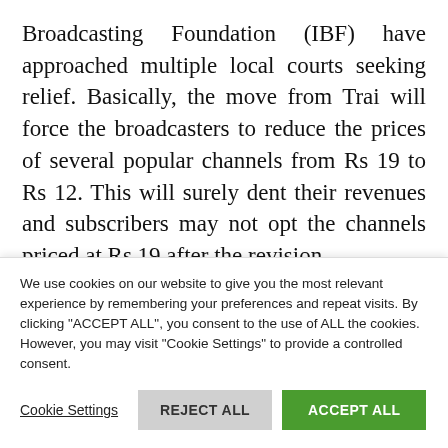Broadcasting Foundation (IBF) have approached multiple local courts seeking relief. Basically, the move from Trai will force the broadcasters to reduce the prices of several popular channels from Rs 19 to Rs 12. This will surely dent their revenues and subscribers may not opt the channels priced at Rs 19 after the revision.
The next hearing on the matter at Bombay High Court is on February 12 and it's expected that the
We use cookies on our website to give you the most relevant experience by remembering your preferences and repeat visits. By clicking "ACCEPT ALL", you consent to the use of ALL the cookies. However, you may visit "Cookie Settings" to provide a controlled consent.